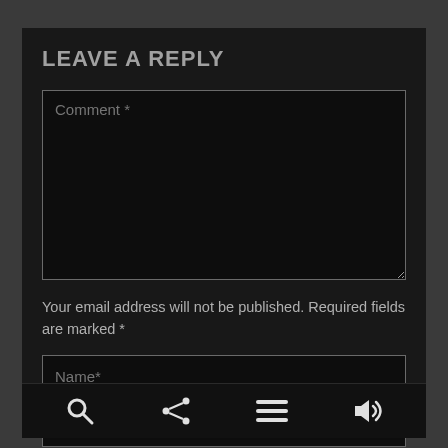LEAVE A REPLY
[Figure (screenshot): Comment textarea input field with placeholder text 'Comment *' on dark background]
Your email address will not be published. Required fields are marked *
[Figure (screenshot): Name input field with placeholder text 'Name*' on dark background]
[Figure (screenshot): Bottom toolbar with search, share, menu, and audio icons]